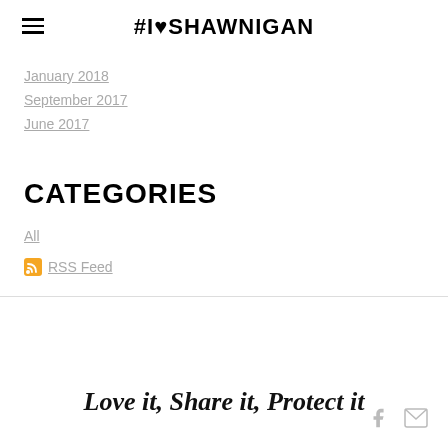#I❤SHAWNIGAN
January 2018
September 2017
June 2017
CATEGORIES
All
RSS Feed
Love it, Share it, Protect it